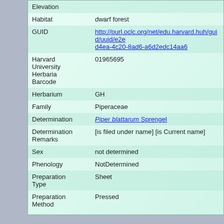| Field | Value |
| --- | --- |
| Elevation |  |
| Habitat | dwarf forest |
| GUID | http://purl.oclc.org/net/edu.harvard.huh/guid/uuid/e2ed4ea-4c20-8ad6-a6d2edc14aa6 |
| Harvard University Herbaria Barcode | 01965695 |
| Herbarium | GH |
| Family | Piperaceae |
| Determination | Piper blattarum Sprengel |
| Determination Remarks | [is filed under name] [is Current name] |
| Sex | not determined |
| Phenology | NotDetermined |
| Preparation Type | Sheet |
| Preparation Method | Pressed |